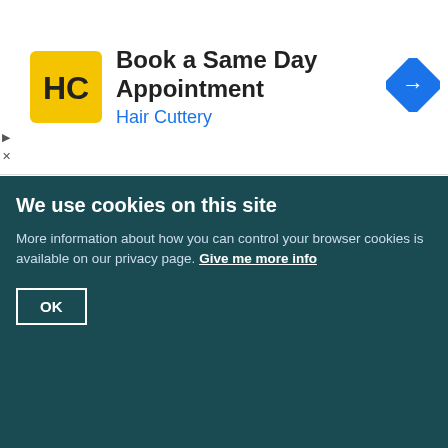[Figure (advertisement): Hair Cuttery advertisement banner with yellow HC logo, text 'Book a Same Day Appointment' and 'Hair Cuttery', and a blue navigation arrow icon on the right.]
rious entry in a Court Roll occurs for the year 1547, when after the usual entries under Wimbledon it is stated that at Burstow no one was amerced that year causa infirmitatis. (fn. 70) In 1590 Elizabeth granted to Sir Thomas Cecil and his heirs the manor of Wimbledon and 'all those our lands in Bristowe alias Burstowe called le Parke.' (fn. 71) Later in the same year Cecil received licence to alienate the manor of Burstow to Sir Thomas Shirley and his heirs. (fn. 72) Shirley, who had been appointed Treasurer-at-War to the English army in the Low Countries in 1587, had in that capacity become inextricably involved in debt to the Crown, and his pecuniary embarrassments grew greater as the years passed on; in 1596 it was stated that 'he owed the queen more than he was worth.' (fn. 73) In satisfaction of £800 11s. 8d. remaining due to her, the queen accepted, among other lands, this manor, which was therefore conveyed to her in March 1602 by Shirley and John
We use cookies on this site
More information about how you can control your browser cookies is available on our privacy page. Give me more info